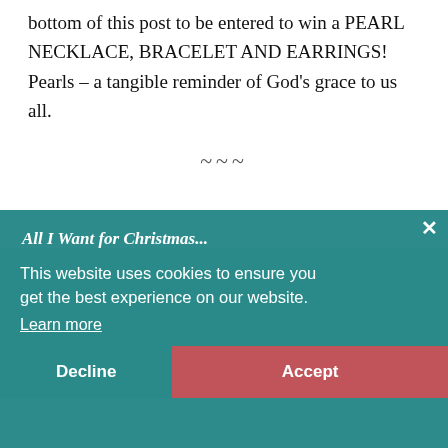bottom of this post to be entered to win a PEARL NECKLACE, BRACELET AND EARRINGS!  Pearls – a tangible reminder of God's grace to us all.
~~~
All I Want for Christmas...
i get the best experience on our website. s Year
by Melissa Mashburn
This is a simple request, isn't it? In the previous years, we had great big bountiful Christmases with our family. Gifts, goodies and general
This website uses cookies to ensure you get the best experience on our website.
Learn more
Decline
Accept